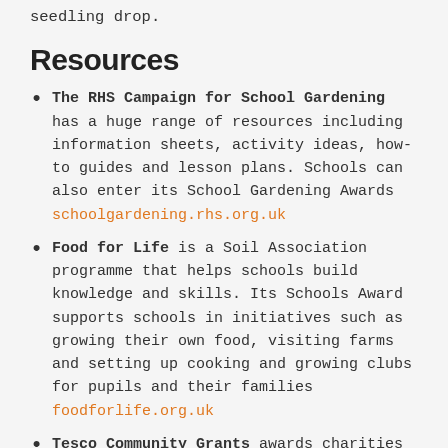seedling drop.
Resources
The RHS Campaign for School Gardening has a huge range of resources including information sheets, activity ideas, how-to guides and lesson plans. Schools can also enter its School Gardening Awards schoolgardening.rhs.org.uk
Food for Life is a Soil Association programme that helps schools build knowledge and skills. Its Schools Award supports schools in initiatives such as growing their own food, visiting farms and setting up cooking and growing clubs for pupils and their families foodforlife.org.uk
Tesco Community Grants awards charities and local community organisations grants of up to £1,5 through its blue token scheme